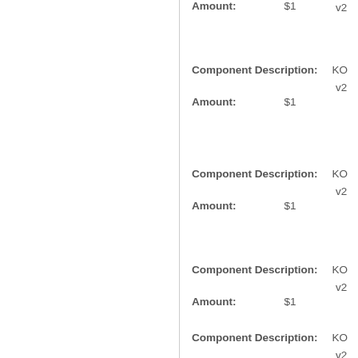Amount: $1
Component Description: KO v2
Amount: $1
Component Description: KO v2
Amount: $1
Component Description: KO v2
Amount: $1
Component Description: KO v2
Amount: $1